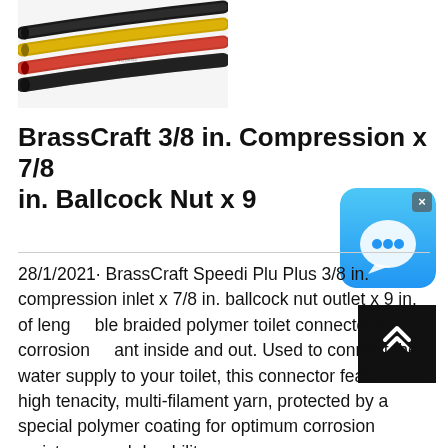[Figure (photo): Photo of heat shrink tubing in multiple colors (black, yellow, red, black) arranged in a fan/diagonal pattern on a white background]
BrassCraft 3/8 in. Compression x 7/8 in. Ballcock Nut x 9
28/1/2021· BrassCraft Speedi Plu Plus 3/8 in. compression inlet x 7/8 in. ballcock nut outlet x 9 in. of leng ble braided polymer toilet connector is corrosion ant inside and out. Used to connect the water supply to your toilet, this connector features a high tenacity, multi-filament yarn, protected by a special polymer coating for optimum corrosion resistance and durability. ...